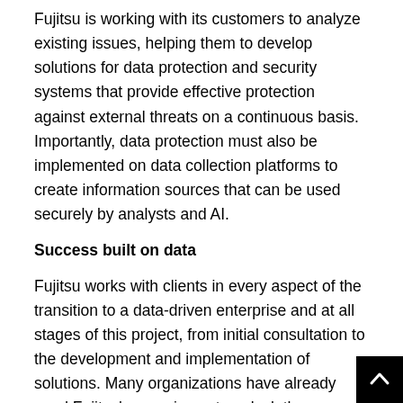Fujitsu is working with its customers to analyze existing issues, helping them to develop solutions for data protection and security systems that provide effective protection against external threats on a continuous basis. Importantly, data protection must also be implemented on data collection platforms to create information sources that can be used securely by analysts and AI.
Success built on data
Fujitsu works with clients in every aspect of the transition to a data-driven enterprise and at all stages of this project, from initial consultation to the development and implementation of solutions. Many organizations have already used Fujitsu's experience to unlock the potential of data and use it to improve their performance.